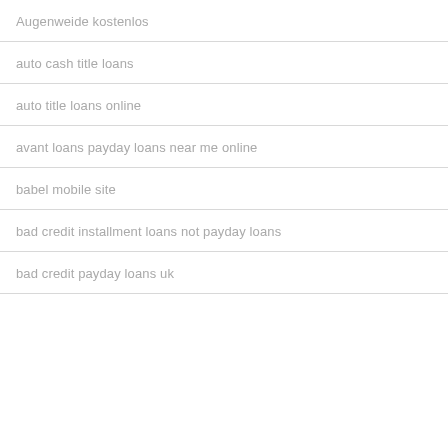Augenweide kostenlos
auto cash title loans
auto title loans online
avant loans payday loans near me online
babel mobile site
bad credit installment loans not payday loans
bad credit payday loans uk